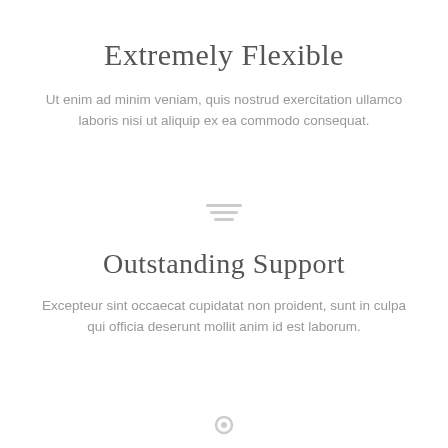Extremely Flexible
Ut enim ad minim veniam, quis nostrud exercitation ullamco laboris nisi ut aliquip ex ea commodo consequat.
[Figure (illustration): Small decorative icon in the middle of the page]
Outstanding Support
Excepteur sint occaecat cupidatat non proident, sunt in culpa qui officia deserunt mollit anim id est laborum.
[Figure (illustration): Small decorative icon at the bottom of the page]